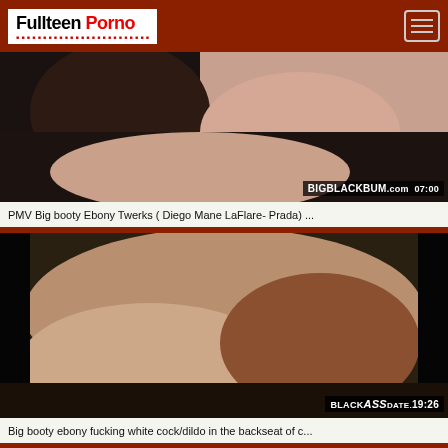Fullteen Porno
[Figure (photo): Thumbnail of adult video: PMV Big booty Ebony Twerks (Diego Mane LaFlare- Prada), duration 07:00, watermark BIGBLACKBUM.com]
PMV Big booty Ebony Twerks ( Diego Mane LaFlare- Prada) ...
[Figure (photo): Thumbnail of adult video: Big booty ebony fucking white cock/dildo in the backseat of c..., duration 19:26, watermark BLACKASSDATE]
Big booty ebony fucking white cock/dildo in the backseat of c...